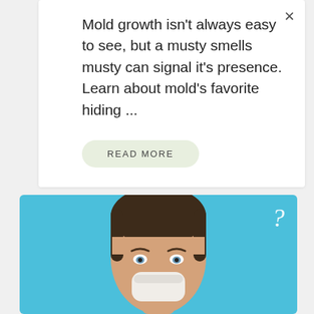Mold growth isn't always easy to see, but a musty smells musty can signal it's presence. Learn about mold's favorite hiding ...
READ MORE
[Figure (photo): A young boy with short brown hair holding a tissue to his nose, photographed against a bright blue background. A white question mark icon appears in the top-right corner of the image.]